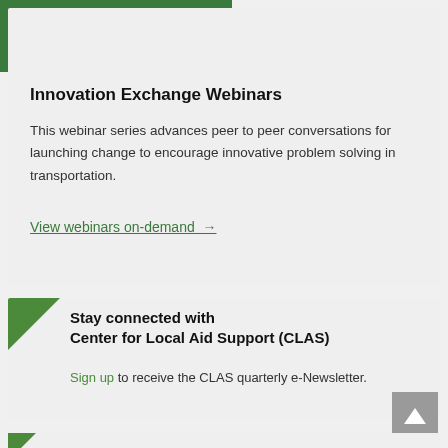WEBINARS
Innovation Exchange Webinars
This webinar series advances peer to peer conversations for launching change to encourage innovative problem solving in transportation.
View webinars on-demand →
Stay connected with Center for Local Aid Support (CLAS)
Sign up to receive the CLAS quarterly e-Newsletter.